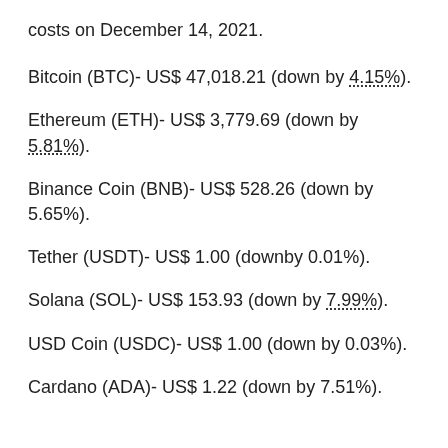costs on December 14, 2021.
Bitcoin (BTC)- US$ 47,018.21 (down by 4.15%).
Ethereum (ETH)- US$ 3,779.69 (down by 5.81%).
Binance Coin (BNB)- US$ 528.26 (down by 5.65%).
Tether (USDT)- US$ 1.00 (downby 0.01%).
Solana (SOL)- US$ 153.93 (down by 7.99%).
USD Coin (USDC)- US$ 1.00 (down by 0.03%).
Cardano (ADA)- US$ 1.22 (down by 7.51%).